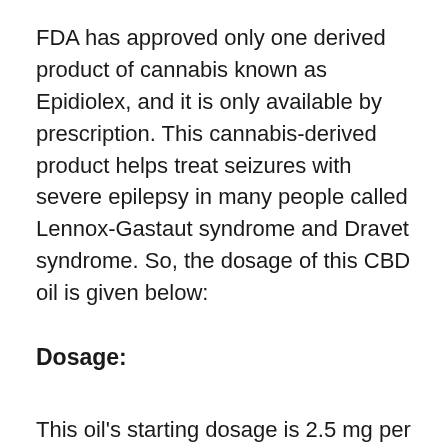FDA has approved only one derived product of cannabis known as Epidiolex, and it is only available by prescription. This cannabis-derived product helps treat seizures with severe epilepsy in many people called Lennox-Gastaut syndrome and Dravet syndrome. So, the dosage of this CBD oil is given below:
Dosage:
This oil's starting dosage is 2.5 mg per kg of the body weight (mg/kg). This dosage should be taken twice a day. It means that at the start, the ideal dose is 5mg/kg each day. After following this plan some days, many people